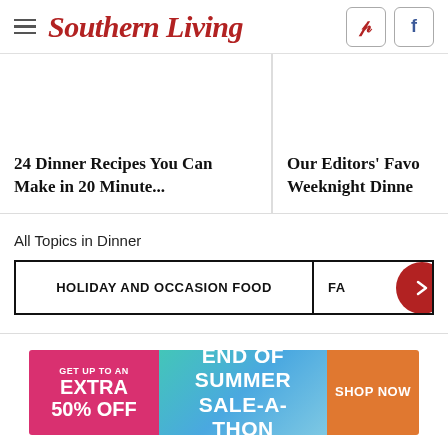Southern Living
24 Dinner Recipes You Can Make in 20 Minute...
Our Editors' Favo Weeknight Dinne
All Topics in Dinner
HOLIDAY AND OCCASION FOOD
FA
[Figure (screenshot): End of Summer Sale-A-Thon advertisement banner: pink left panel with 'GET UP TO AN EXTRA 50% OFF', teal/blue middle panel with 'END OF SUMMER SALE-A-THON', orange right panel with 'SHOP NOW']